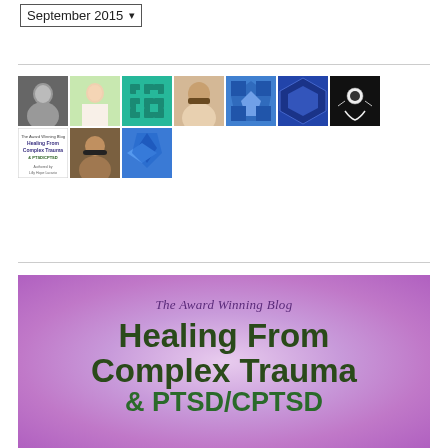September 2015 ▾
[Figure (photo): Grid of user profile avatars/thumbnails including photos of people and patterned icons, arranged in two rows]
[Figure (illustration): Blog banner with purple radial gradient background showing text: 'The Award Winning Blog Healing From Complex Trauma & PTSD/CPTSD']